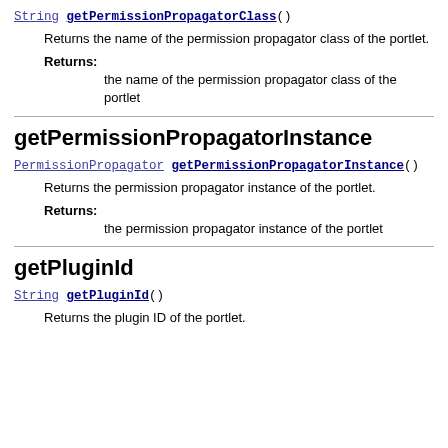String getPermissionPropagatorClass()
Returns the name of the permission propagator class of the portlet.
Returns:
the name of the permission propagator class of the portlet
getPermissionPropagatorInstance
PermissionPropagator getPermissionPropagatorInstance()
Returns the permission propagator instance of the portlet.
Returns:
the permission propagator instance of the portlet
getPluginId
String getPluginId()
Returns the plugin ID of the portlet.